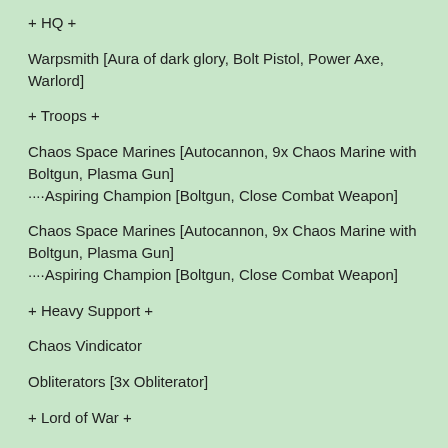+ HQ +
Warpsmith [Aura of dark glory, Bolt Pistol, Power Axe, Warlord]
+ Troops +
Chaos Space Marines [Autocannon, 9x Chaos Marine with Boltgun, Plasma Gun]
····Aspiring Champion [Boltgun, Close Combat Weapon]
Chaos Space Marines [Autocannon, 9x Chaos Marine with Boltgun, Plasma Gun]
····Aspiring Champion [Boltgun, Close Combat Weapon]
+ Heavy Support +
Chaos Vindicator
Obliterators [3x Obliterator]
+ Lord of War +
[FW] Chaos Knight Errant
++ Renegades of Vraks: IASoV - The Lost and the Damned (2015)